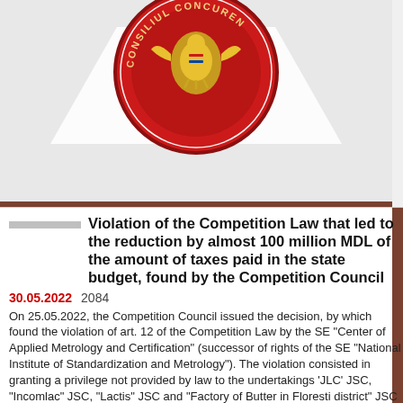[Figure (logo): Partial view of the Competition Council seal/emblem (Consiliul Concurentei) showing red circular seal with coat of arms, on a light grey/white background with decorative elements]
Violation of the Competition Law that led to the reduction by almost 100 million MDL of the amount of taxes paid in the state budget, found by the Competition Council
30.05.2022   2084
On 25.05.2022, the Competition Council issued the decision, by which found the violation of art. 12 of the Competition Law by the SE "Center of Applied Metrology and Certification" (successor of rights of the SE "National Institute of Standardization and Metrology"). The violation consisted in granting a privilege not provided by law to the undertakings 'JLC' JSC, "Incomlac" JSC, "Lactis" JSC and "Factory of Butter in Floresti district" JSC by by misattributing tariff positions for dairy